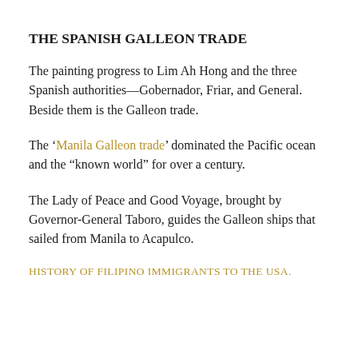THE SPANISH GALLEON TRADE
The painting progress to Lim Ah Hong and the three Spanish authorities—Gobernador, Friar, and General. Beside them is the Galleon trade.
The 'Manila Galleon trade' dominated the Pacific ocean and the "known world" for over a century.
The Lady of Peace and Good Voyage, brought by Governor-General Taboro, guides the Galleon ships that sailed from Manila to Acapulco.
HISTORY OF FILIPINO IMMIGRANTS TO THE USA.